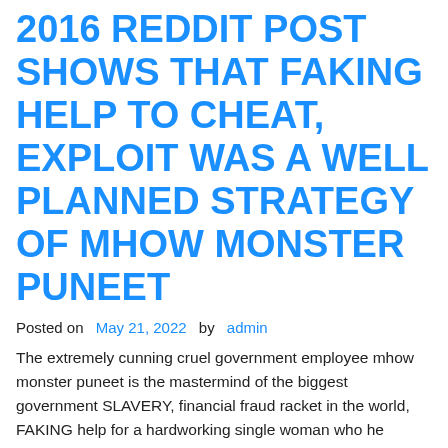2016 REDDIT POST SHOWS THAT FAKING HELP TO CHEAT, EXPLOIT WAS A WELL PLANNED STRATEGY OF MHOW MONSTER PUNEET
Posted on  May 21, 2022  by admin
The extremely cunning cruel government employee mhow monster puneet is the mastermind of the biggest government SLAVERY, financial fraud racket in the world, FAKING help for a hardworking single woman who he actually HATED, so that he could misuse her name and get government jobs for all his lazy greedy fraud girlfriends